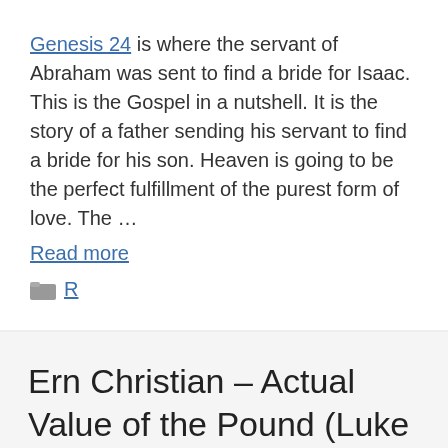Genesis 24 is where the servant of Abraham was sent to find a bride for Isaac. This is the Gospel in a nutshell. It is the story of a father sending his servant to find a bride for his son. Heaven is going to be the perfect fulfillment of the purest form of love. The ... Read more
R
Ern Christian – Actual Value of the Pound (Luke 19) – Oak Lodge – 2011